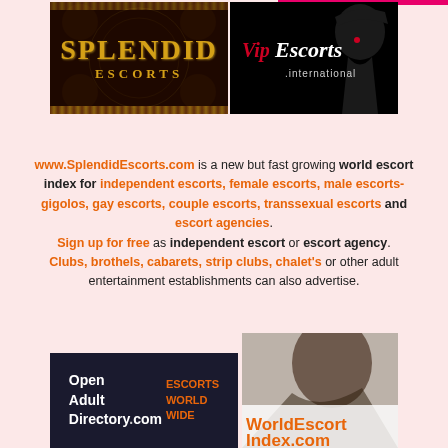[Figure (logo): Splendid Escorts logo - dark brown/black background with gold ornate text]
[Figure (logo): Vip Escorts International logo - black background with cursive red/white text and silhouette]
www.SplendidEscorts.com is a new but fast growing world escort index for independent escorts, female escorts, male escorts- gigolos, gay escorts, couple escorts, transsexual escorts and escort agencies. Sign up for free as independent escort or escort agency. Clubs, brothels, cabarets, strip clubs, chalet's or other adult entertainment establishments can also advertise.
[Figure (logo): Open Adult Directory.com logo - dark blue background with white and orange text]
[Figure (logo): WorldEscortIndex.com logo - photo background with orange text]